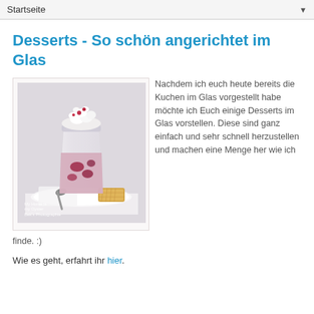Startseite
Desserts - So schön angerichtet im Glas
[Figure (photo): A glass dessert with whipped cream and berries on top, served on a white plate with a spoon and a biscuit beside it. Photo credit: My Home is my Oyster / Bek's Photographie]
Nachdem ich euch heute bereits die Kuchen im Glas vorgestellt habe möchte ich Euch einige Desserts im Glas vorstellen. Diese sind ganz einfach und sehr schnell herzustellen und machen eine Menge her wie ich finde. :)
Wie es geht, erfahrt ihr hier.